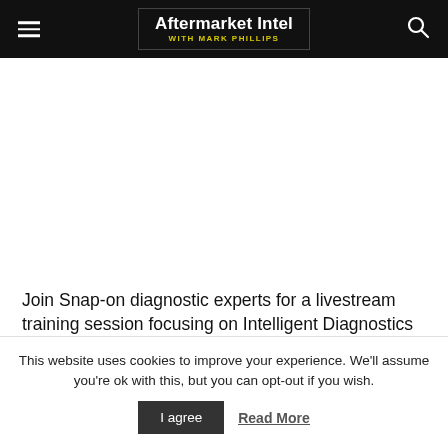Aftermarket Intel with Mark Phillips
Join Snap-on diagnostic experts for a livestream training session focusing on Intelligent Diagnostics
This website uses cookies to improve your experience. We'll assume you're ok with this, but you can opt-out if you wish.
I agree  Read More